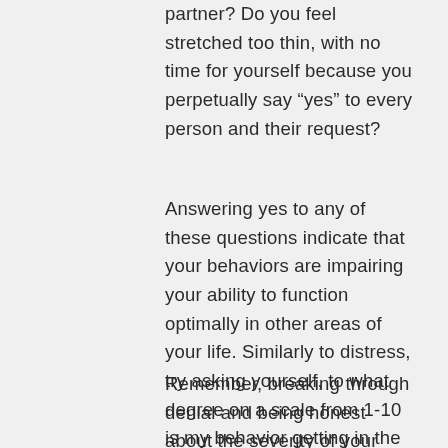partner? Do you feel stretched too thin, with no time for yourself because you perpetually say “yes” to every person and their request?
Answering yes to any of these questions indicate that your behaviors are impairing your ability to function optimally in other areas of your life. Similarly to distress, try asking yourself, to what degree on a scale from 1-10 is my behavior getting in the way of my values, priorities, and responsibilities?
Remember, breaking through denial and being honest about the severity of your problem is difficult. You may have been rationalizing your behavior for many, many years. I invite you to use